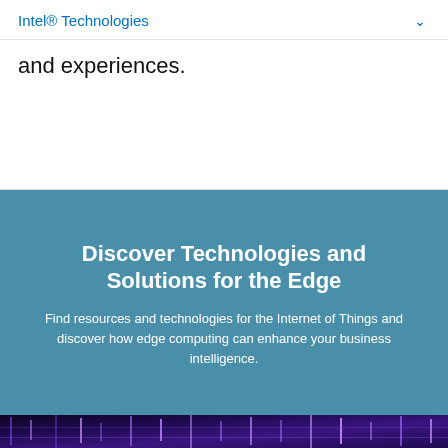Intel® Technologies
and experiences.
Discover Technologies and Solutions for the Edge
Find resources and technologies for the Internet of Things and discover how edge computing can enhance your business intelligence.
[Figure (photo): Abstract glowing purple circuit board or digital grid pattern on dark background]